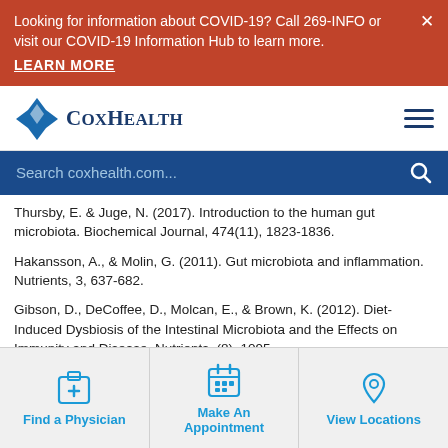Looking for information about COVID-19? Call 269-INFO or visit our COVID-19 Information Hub to learn more.
LEARN MORE
[Figure (logo): CoxHealth logo with blue star/diamond shape and serif text]
Search coxhealth.com...
Thursby, E. & Juge, N. (2017). Introduction to the human gut microbiota. Biochemical Journal, 474(11), 1823-1836.
Hakansson, A., & Molin, G. (2011). Gut microbiota and inflammation. Nutrients, 3, 637-682.
Gibson, D., DeCoffee, D., Molcan, E., & Brown, K. (2012). Diet-Induced Dysbiosis of the Intestinal Microbiota and the Effects on Immunity and Disease. Nutrients, (8), 1095.
Find a Physician
Make An Appointment
View Locations